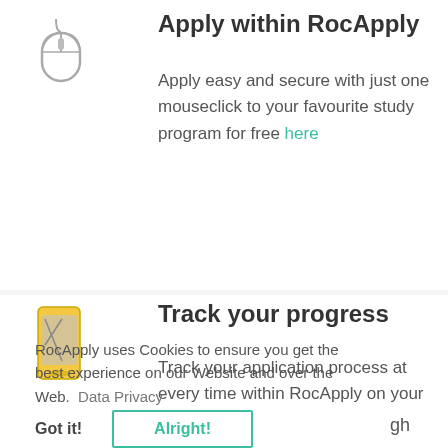Apply within RocApply
Apply easy and secure with just one mouseclick to your favourite study program for free here
Track your progress
Track your application process at every time within RocApply on your
RocApply uses Cookies to ensure you get the best experience on our Website and over the Web. Data Privacy
Got it!
Alright!
gh